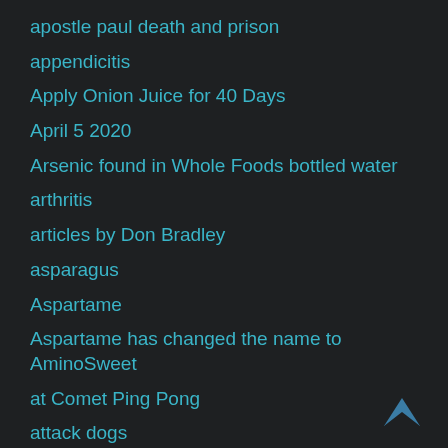apostle paul death and prison
appendicitis
Apply Onion Juice for 40 Days
April 5 2020
Arsenic found in Whole Foods bottled water
arthritis
articles by Don Bradley
asparagus
Aspartame
Aspartame has changed the name to AminoSweet
at Comet Ping Pong
attack dogs
Attention Deficit Disorder
Audra West